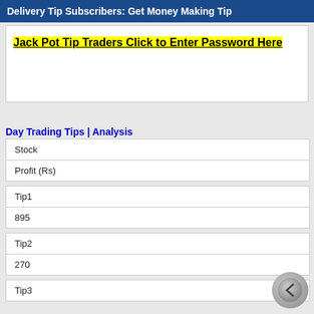Delivery Tip Subscribers: Get Money Making Tip
Jack Pot Tip Traders Click to Enter Password Here
Day Trading Tips | Analysis
| Stock | Profit (Rs) |
| --- | --- |
| Tip1 | 895 |
| --- | --- |
| Tip2 | 270 |
| --- | --- |
| Tip3 |  |
| --- | --- |